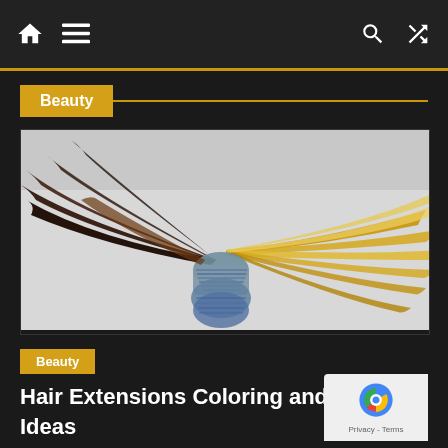Navigation bar with home, menu, search, and shuffle icons
Beauty
[Figure (photo): Multiple hair extension samples fanned out showing different colors from dark brown/black to golden blonde, bundled together with blue packaging material]
Beauty
Hair Extensions Coloring and Care Ideas